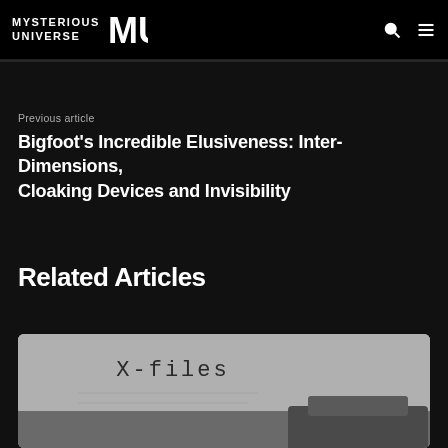MYSTERIOUS UNIVERSE MU
Previous article
Bigfoot's Incredible Elusiveness: Inter-Dimensions, Cloaking Devices and Invisibility
Related Articles
[Figure (photo): Black and white photo showing a document or folder with 'X-files' typed on it in monospace font, along with what appears to be a stapler or binder clip in the lower right.]